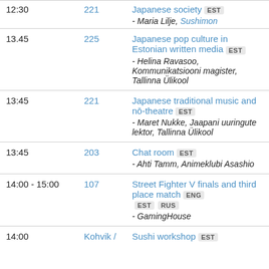| Time | Room | Event |
| --- | --- | --- |
| 12:30 | 221 | Japanese society EST
- Maria Lilje, Sushimon |
| 13.45 | 225 | Japanese pop culture in Estonian written media EST
- Helina Ravasoo, Kommunikatsiooni magister, Tallinna Ülikool |
| 13:45 | 221 | Japanese traditional music and nō-theatre EST
- Maret Nukke, Jaapani uuringute lektor, Tallinna Ülikool |
| 13:45 | 203 | Chat room EST
- Ahti Tamm, Animeklubi Asashio |
| 14:00 - 15:00 | 107 | Street Fighter V finals and third place match ENG EST RUS
- GamingHouse |
| 14:00 | Kohvik / | Sushi workshop EST |